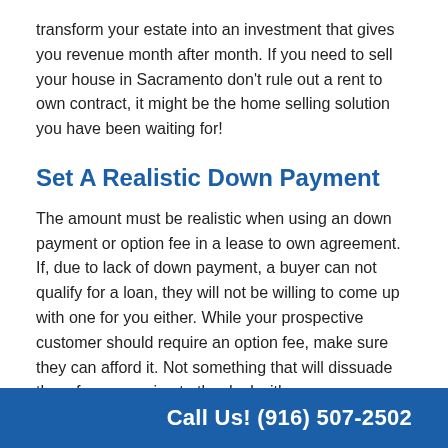transform your estate into an investment that gives you revenue month after month. If you need to sell your house in Sacramento don't rule out a rent to own contract, it might be the home selling solution you have been waiting for!
Set A Realistic Down Payment
The amount must be realistic when using an down payment or option fee in a lease to own agreement. If, due to lack of down payment, a buyer can not qualify for a loan, they will not be willing to come up with one for you either. While your prospective customer should require an option fee, make sure they can afford it. Not something that will dissuade them from agreeing to the deal with you.
Call Us! (916) 507-2502